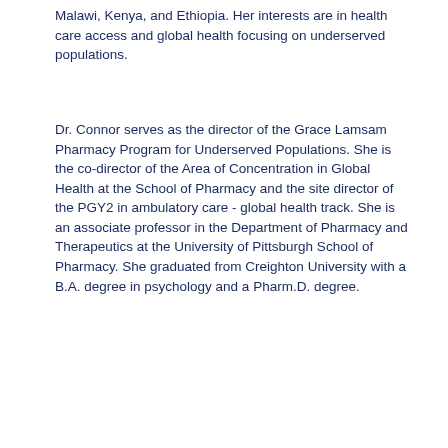Malawi, Kenya, and Ethiopia. Her interests are in health care access and global health focusing on underserved populations.
Dr. Connor serves as the director of the Grace Lamsam Pharmacy Program for Underserved Populations. She is the co-director of the Area of Concentration in Global Health at the School of Pharmacy and the site director of the PGY2 in ambulatory care - global health track. She is an associate professor in the Department of Pharmacy and Therapeutics at the University of Pittsburgh School of Pharmacy. She graduated from Creighton University with a B.A. degree in psychology and a Pharm.D. degree.